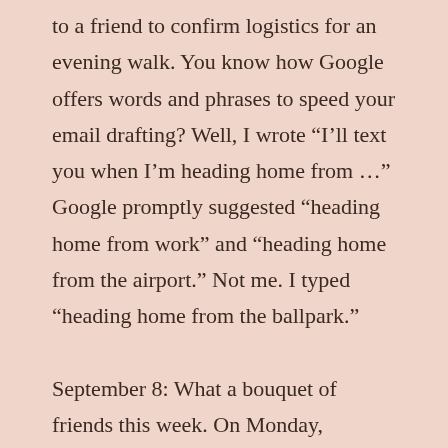to a friend to confirm logistics for an evening walk. You know how Google offers words and phrases to speed your email drafting? Well, I wrote “I’ll text you when I’m heading home from …” Google promptly suggested “heading home from work” and “heading home from the airport.” Not me. I typed “heading home from the ballpark.”
September 8: What a bouquet of friends this week. On Monday, Desmond, Karen and I exchanged wisdom and smiles while the Nats